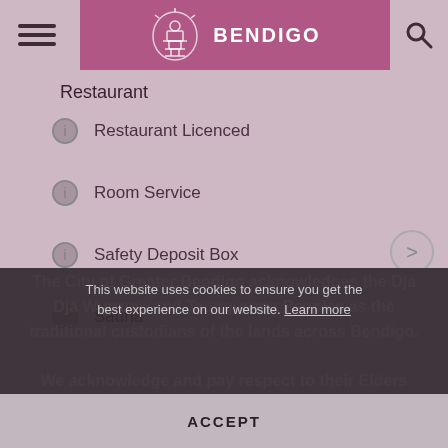BENDIGO
Restaurant
Restaurant Licenced
Room Service
Safety Deposit Box
Sauna
The City of Greater Bendigo acknowledges the Dja Dja Wurrung and Taungurung Peoples as the traditional custodians of the lands across Bendigo.
We acknowledge and pay respect to their Elders past present and emerging.
This website uses cookies to ensure you get the best experience on our website. Learn more
ACCEPT